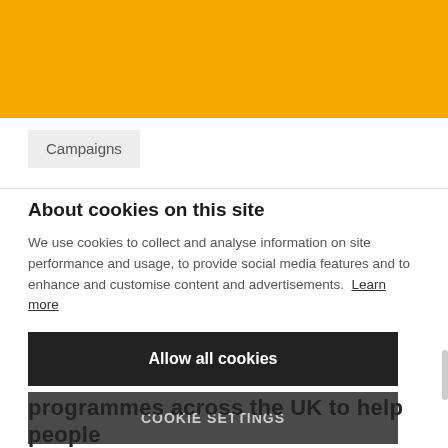[Figure (other): Orange/amber coloured banner at the top of the page]
Campaigns
About cookies on this site
We use cookies to collect and analyse information on site performance and usage, to provide social media features and to enhance and customise content and advertisements. Learn more
Allow all cookies
COOKIE SETTINGS
programmes across the UK to help people